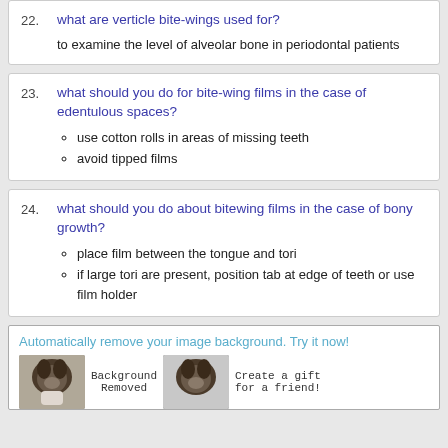22. what are verticle bite-wings used for?
to examine the level of alveolar bone in periodontal patients
23. what should you do for bite-wing films in the case of edentulous spaces?
use cotton rolls in areas of missing teeth
avoid tipped films
24. what should you do about bitewing films in the case of bony growth?
place film between the tongue and tori
if large tori are present, position tab at edge of teeth or use film holder
[Figure (infographic): Advertisement showing image background removal tool with photos of a dog before and after background removal. Text reads: Automatically remove your image background. Try it now! Background Removed. Create a gift for a friend!]